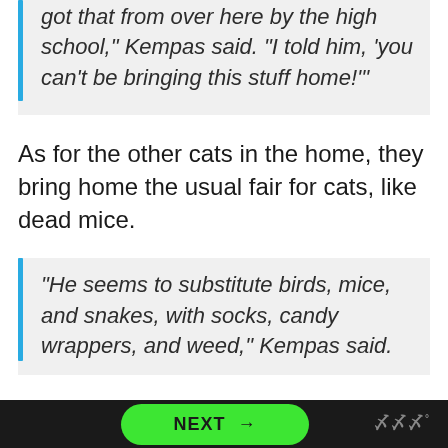got that from over here by the high school," Kempas said. "I told him, 'you can't be bringing this stuff home!'"
As for the other cats in the home, they bring home the usual fair for cats, like dead mice.
"He seems to substitute birds, mice, and snakes, with socks, candy wrappers, and weed," Kempas said.
NEXT →